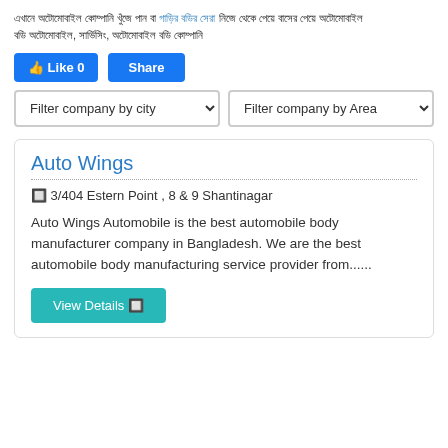এখানে অটোমোবাইল কোম্পানি খুঁজে পান বা গাড়ির বডির সেরা নিজে থেকে পেয়ে বাসের অটোমোবাইল, সার্ভিসিং, অটোমোবাইল বডি কোম্পানি
[Figure (screenshot): Social media Like 0 and Share buttons in blue]
[Figure (screenshot): Two dropdown filter selects: Filter company by city and Filter company by Area]
Auto Wings — 3/404 Estern Point , 8 & 9 Shantinagar — Auto Wings Automobile is the best automobile body manufacturer company in Bangladesh. We are the best automobile body manufacturing service provider from...... — View Details
Auto Wings Automobile is the best automobile body manufacturer company in Bangladesh. We are the best automobile body manufacturing service provider from......